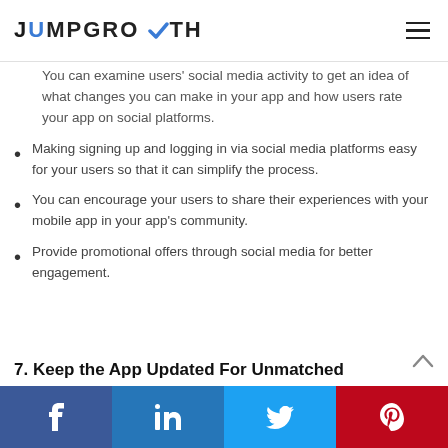JUMPGROWTH
You can examine users' social media activity to get an idea of what changes you can make in your app and how users rate your app on social platforms.
Making signing up and logging in via social media platforms easy for your users so that it can simplify the process.
You can encourage your users to share their experiences with your mobile app in your app's community.
Provide promotional offers through social media for better engagement.
7. Keep the App Updated For Unmatched
Facebook | LinkedIn | Twitter | Pinterest